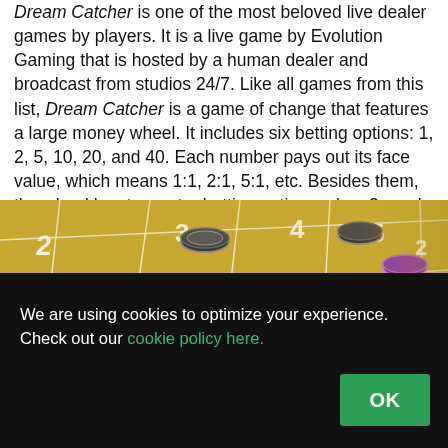Dream Catcher is one of the most beloved live dealer games by players. It is a live game by Evolution Gaming that is hosted by a human dealer and broadcast from studios 24/7. Like all games from this list, Dream Catcher is a game of change that features a large money wheel. It includes six betting options: 1, 2, 5, 10, 20, and 40. Each number pays out its face value, which means 1:1, 2:1, 5:1, etc. Besides them, the wheel has two extra betting options a.k.a. 2x and 7x multipliers.
[Figure (photo): A roulette/betting table with gold/yellow felt showing numbers 2,3,4,5,6,8,9,10,11,12,13,14,15,17,18 and various casino chips in black, blue, gray, and purple colors scattered across the numbered grid.]
We are using cookies to optimize your experience. Check out our cookie policy here.